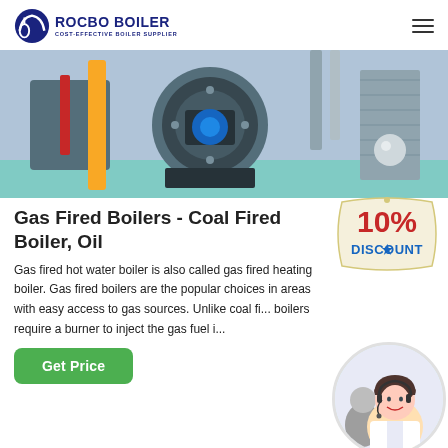ROCBO BOILER - COST-EFFECTIVE BOILER SUPPLIER
[Figure (photo): Industrial gas fired boiler machinery with blue and yellow pipes and components]
Gas Fired Boilers - Coal Fired Boiler, Oil
[Figure (other): 10% DISCOUNT badge/sign in red and blue text on cream colored tag]
Gas fired hot water boiler is also called gas fired heating boiler. Gas fired boilers are the popular choices in areas with easy access to gas sources. Unlike coal fi... boilers require a burner to inject the gas fuel i...
[Figure (photo): Customer service representative woman smiling wearing headset]
Get Price